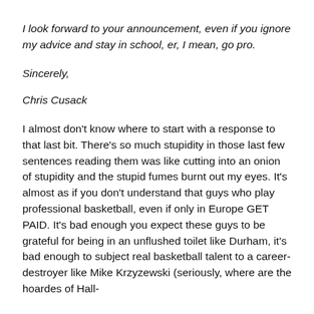I look forward to your announcement, even if you ignore my advice and stay in school, er, I mean, go pro.
Sincerely,
Chris Cusack
I almost don't know where to start with a response to that last bit. There's so much stupidity in those last few sentences reading them was like cutting into an onion of stupidity and the stupid fumes burnt out my eyes. It's almost as if you don't understand that guys who play professional basketball, even if only in Europe GET PAID. It's bad enough you expect these guys to be grateful for being in an unflushed toilet like Durham, it's bad enough to subject real basketball talent to a career-destroyer like Mike Krzyzewski (seriously, where are the hoardes of Hall-